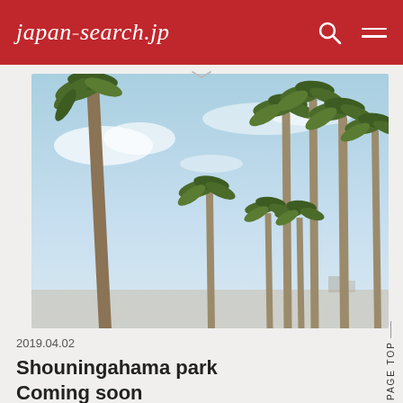japan-search.jp
[Figure (photo): Outdoor scene with multiple tall palm trees against a light blue sky, taken at Shouningahama park. A large leaning palm trunk is prominent on the left side, with clusters of palm trees in the background.]
2019.04.02
Shouningahama park
Coming soon